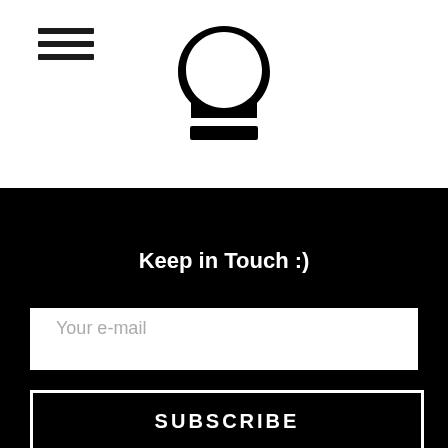[Figure (logo): Hamburger menu icon (three horizontal lines) on the left, and a stylized question mark / Resolver-style logo in the center of the white header area]
Keep in Touch :)
Your e-mail
SUBSCRIBE